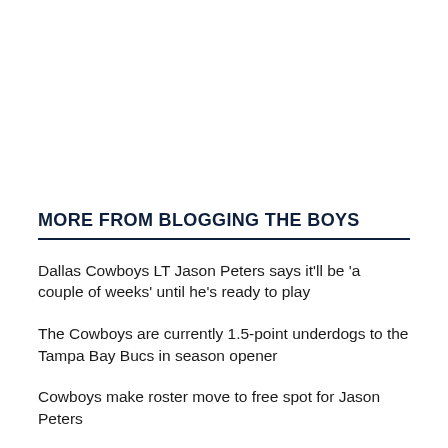MORE FROM BLOGGING THE BOYS
Dallas Cowboys LT Jason Peters says it'll be 'a couple of weeks' until he's ready to play
The Cowboys are currently 1.5-point underdogs to the Tampa Bay Bucs in season opener
Cowboys make roster move to free spot for Jason Peters
Signing Jason Peters is a season-altering move for the Cowboys
Report: Dallas Cowboys agree to terms with All-Pro left tackle Jason Peters